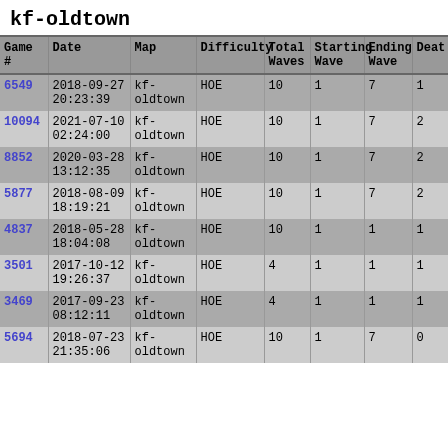kf-oldtown
| Game # | Date | Map | Difficulty | Total Waves | Starting Wave | Ending Wave | Deat |
| --- | --- | --- | --- | --- | --- | --- | --- |
| 6549 | 2018-09-27 20:23:39 | kf-oldtown | HOE | 10 | 1 | 7 | 1 |
| 10094 | 2021-07-10 02:24:00 | kf-oldtown | HOE | 10 | 1 | 7 | 2 |
| 8852 | 2020-03-28 13:12:35 | kf-oldtown | HOE | 10 | 1 | 7 | 2 |
| 5877 | 2018-08-09 18:19:21 | kf-oldtown | HOE | 10 | 1 | 7 | 2 |
| 4837 | 2018-05-28 18:04:08 | kf-oldtown | HOE | 10 | 1 | 1 | 1 |
| 3501 | 2017-10-12 19:26:37 | kf-oldtown | HOE | 4 | 1 | 1 | 1 |
| 3469 | 2017-09-23 08:12:11 | kf-oldtown | HOE | 4 | 1 | 1 | 1 |
| 5694 | 2018-07-23 21:35:06 | kf-oldtown | HOE | 10 | 1 | 7 | 0 |